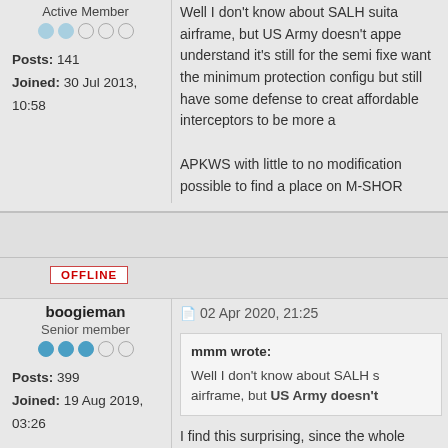Active Member
Posts: 141
Joined: 30 Jul 2013, 10:58
Well I don't know about SALH suita airframe, but US Army doesn't appe understand it's still for the semi fixe want the minimum protection configu but still have some defense to creat affordable interceptors to be more a

APKWS with little to no modification possible to find a place on M-SHOR
OFFLINE
boogieman
Senior member
Posts: 399
Joined: 19 Aug 2019, 03:26
02 Apr 2020, 21:25
mmm wrote:
Well I don't know about SALH s airframe, but US Army doesn't
I find this surprising, since the whole things were ever to kick off there the airpower (at least in the early stages